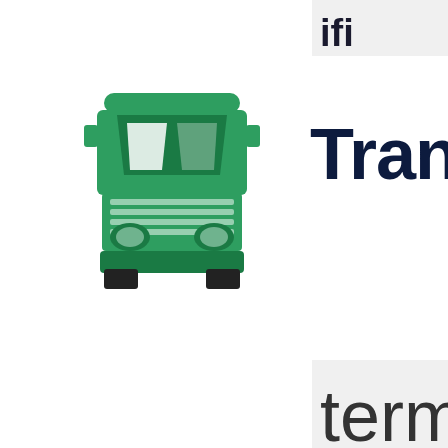ifi
[Figure (illustration): Green semi-truck / freight truck icon viewed from the front, rendered in green color with white windshield highlights]
Transp
terms and conditio will